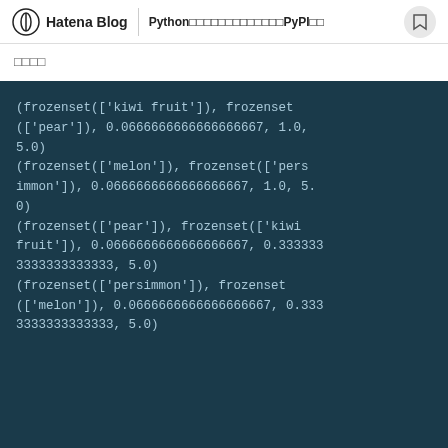Hatena Blog | Python????????????PyPI??
????
(frozenset(['kiwi fruit']), frozenset(['pear']), 0.0666666666666666667, 1.0, 5.0)
(frozenset(['melon']), frozenset(['persimmon']), 0.0666666666666666667, 1.0, 5.0)
(frozenset(['pear']), frozenset(['kiwi fruit']), 0.0666666666666666667, 0.3333333333333333333, 5.0)
(frozenset(['persimmon']), frozenset(['melon']), 0.0666666666666666667, 0.3333333333333333, 5.0)